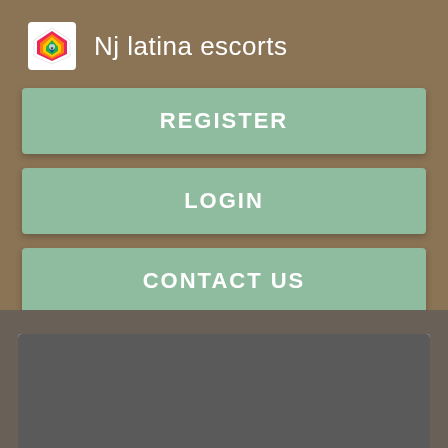Nj latina escorts
REGISTER
LOGIN
CONTACT US
[Figure (other): Dark gray image placeholder area]
Exclusive one-to-one service Meet and greet upon arrival at the gate Fast-track through immigration and security Assistance with baggage collection Baggage saving A guaranteed specific